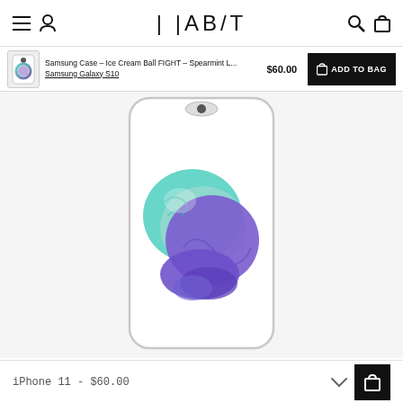HABIT — navigation bar with hamburger menu, user icon, search, and bag icons
Samsung Case – Ice Cream Ball FIGHT – Spearmint L... $60.00 ADD TO BAG
Samsung Galaxy S10
[Figure (photo): A white Samsung smartphone case displayed on a white background featuring a scoop of ice cream in teal/spearmint and purple/violet colors. The case shows the phone outline with camera cutout at top.]
iPhone 11 - $60.00